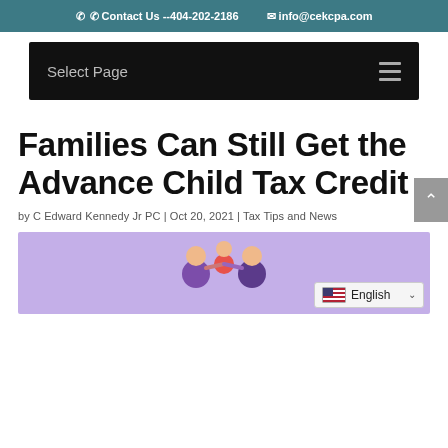Contact Us -- 404-202-2186   info@cekcpa.com
[Figure (screenshot): Black navigation bar with 'Select Page' text and hamburger menu icon]
Families Can Still Get the Advance Child Tax Credit
by C Edward Kennedy Jr PC | Oct 20, 2021 | Tax Tips and News
[Figure (illustration): Purple/lavender background with cartoon family illustration showing adults and child. Language selector overlay showing English with US flag and dropdown arrow.]